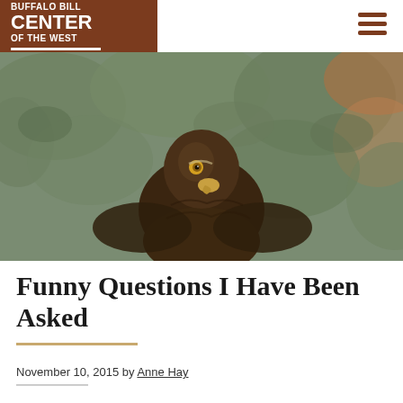BUFFALO BILL CENTER OF THE WEST
[Figure (photo): A golden eagle facing the camera with green foliage in the background]
Funny Questions I Have Been Asked
November 10, 2015 by Anne Hay